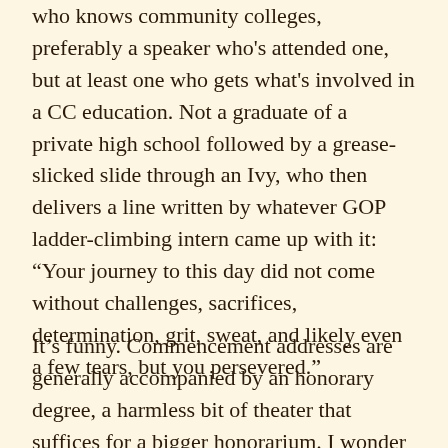who knows community colleges, preferably a speaker who's attended one, but at least one who gets what's involved in a CC education. Not a graduate of a private high school followed by a grease-slicked slide through an Ivy, who then delivers a line written by whatever GOP ladder-climbing intern came up with it: “Your journey to this day did not come without challenges, sacrifices, determination, grit, sweat, and likely even a few tears, but you persevered.”
It’s funny. Commencement addresses are generally accompanied by an honorary degree, a harmless bit of theater that suffices for a bigger honorarium. I wonder